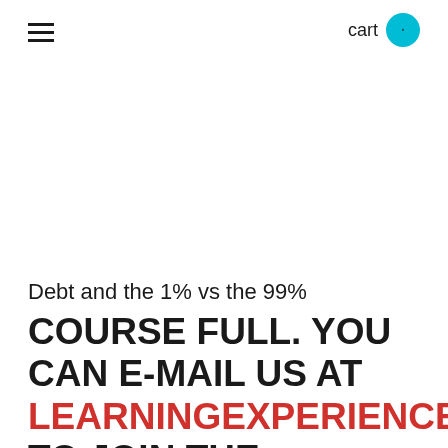cart •
Debt and the 1% vs the 99%
COURSE FULL. YOU CAN E-MAIL US AT LEARNINGEXPERIENCES@BELL.NET TO JOIN THE WAITING LIST